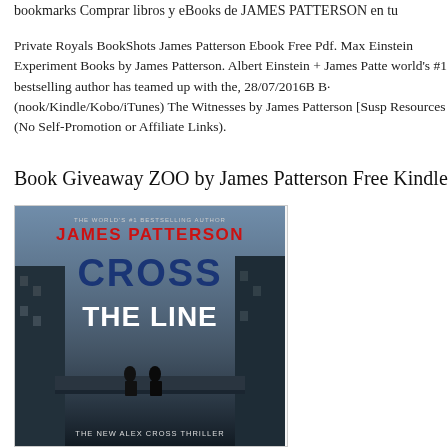bookmarks Comprar libros y eBooks de JAMES PATTERSON en tu
Private Royals BookShots James Patterson Ebook Free Pdf. Max Einstein Experiment Books by James Patterson. Albert Einstein + James Patterson world's #1 bestselling author has teamed up with the, 28/07/2016B B· (nook/Kindle/Kobo/iTunes) The Witnesses by James Patterson [Susp Resources (No Self-Promotion or Affiliate Links).
Book Giveaway ZOO by James Patterson Free Kindle
[Figure (photo): Book cover of 'Cross the Line' by James Patterson - The New Alex Cross Thriller. Red text reading JAMES PATTERSON at top with small text 'THE WORLD'S #1 BESTSELLING AUTHOR'. Large blue bold text reads CROSS THE LINE. Bottom text reads THE NEW ALEX CROSS THRILLER. Cover shows a dark moody background with two figures on a walkway between tall buildings.]